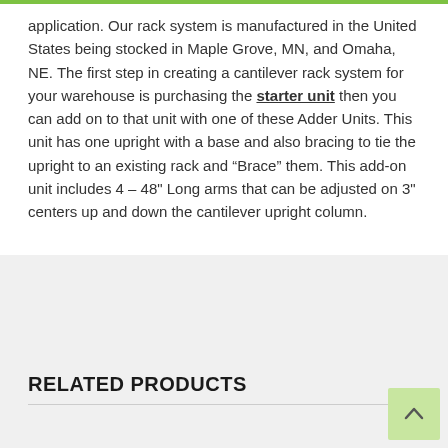application. Our rack system is manufactured in the United States being stocked in Maple Grove, MN, and Omaha, NE. The first step in creating a cantilever rack system for your warehouse is purchasing the starter unit then you can add on to that unit with one of these Adder Units. This unit has one upright with a base and also bracing to tie the upright to an existing rack and “Brace” them. This add-on unit includes 4 – 48" Long arms that can be adjusted on 3" centers up and down the cantilever upright column.
RELATED PRODUCTS